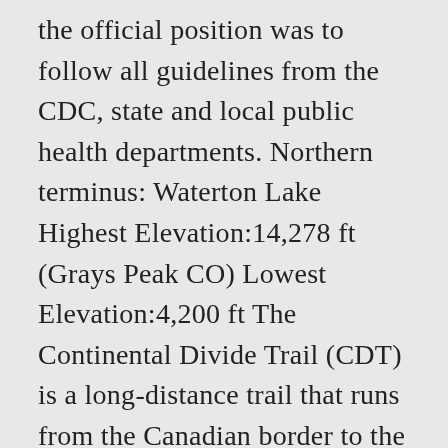the official position was to follow all guidelines from the CDC, state and local public health departments. Northern terminus: Waterton Lake Highest Elevation:14,278 ft (Grays Peak CO) Lowest Elevation:4,200 ft The Continental Divide Trail (CDT) is a long-distance trail that runs from the Canadian border to the Mexican border. The Continental Divide National Scenic Trail (in short Continental Divide Trail (CDT)) is a United States National Scenic Trail running 3,100 miles (5,000 km) between Chihuahua and Alberta. When I yo-yoed the CDT in 2007, the iPhone didn't exist. This map set bundle covers all New Mexico sections of the CDT - spanning the course of the trail between the Mexican Border at Crazy Cook and the Colorado Border